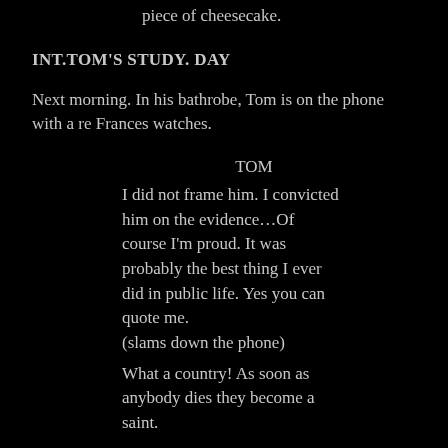piece of cheesecake.
INT.TOM'S STUDY. DAY
Next morning. In his bathrobe, Tom is on the phone with a re Frances watches.
TOM
I did not frame him. I convicted him on the evidence…Of course I'm proud. It was probably the best thing I ever did in public life. Yes you can quote me.
(slams down the phone)
What a country! As soon as anybody dies they become a saint.
FRANCES